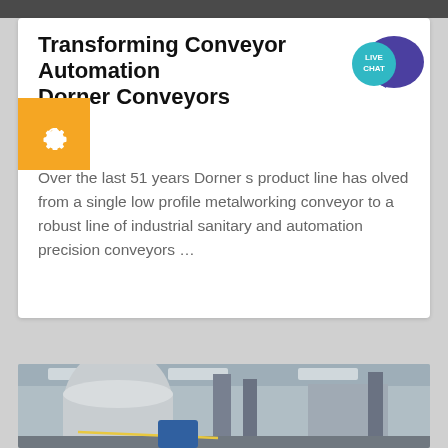[Figure (photo): Top dark image bar (partial photo)]
Transforming Conveyor Automation Dorner Conveyors
[Figure (illustration): Live Chat speech bubble icon in teal/purple]
[Figure (illustration): Orange settings/gear tab on left side]
Over the last 51 years Dorner s product line has olved from a single low profile metalworking conveyor to a robust line of industrial sanitary and automation precision conveyors ...
[Figure (photo): Factory interior showing industrial equipment, pipes, silos and conveyor machinery]